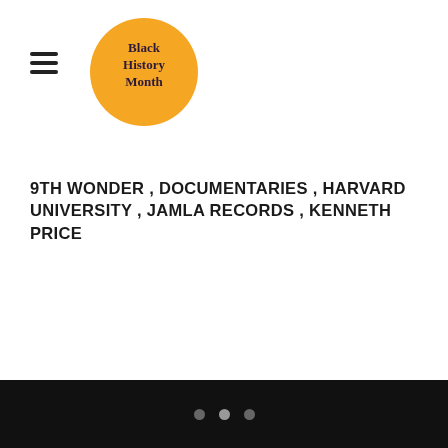[Figure (logo): Black History Month orange circular logo with text 'Black History Month' in dark serif font]
9TH WONDER , DOCUMENTARIES , HARVARD UNIVERSITY , JAMLA RECORDS , KENNETH PRICE